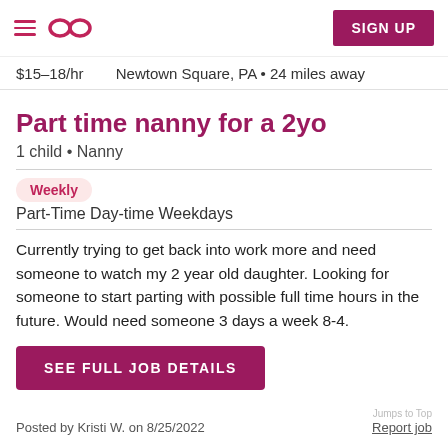SIGN UP
$15–18/hr   Newtown Square, PA • 24 miles away
Part time nanny for a 2yo
1 child • Nanny
Weekly
Part-Time Day-time Weekdays
Currently trying to get back into work more and need someone to watch my 2 year old daughter. Looking for someone to start parting with possible full time hours in the future. Would need someone 3 days a week 8-4.
SEE FULL JOB DETAILS
Posted by Kristi W. on 8/25/2022   Report job